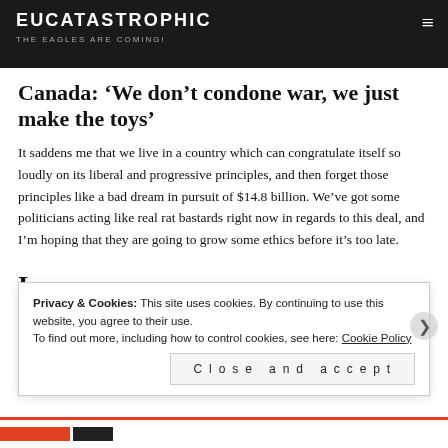EUCATASTROPHIC / THE EAGLES ARE COMING!
Canada: ‘We don’t condone war, we just make the toys’
It saddens me that we live in a country which can congratulate itself so loudly on its liberal and progressive principles, and then forget those principles like a bad dream in pursuit of $14.8 billion. We’ve got some politicians acting like real rat bastards right now in regards to this deal, and I’m hoping that they are going to grow some ethics before it’s too late.
Privacy & Cookies: This site uses cookies. By continuing to use this website, you agree to their use. To find out more, including how to control cookies, see here: Cookie Policy
Close and accept